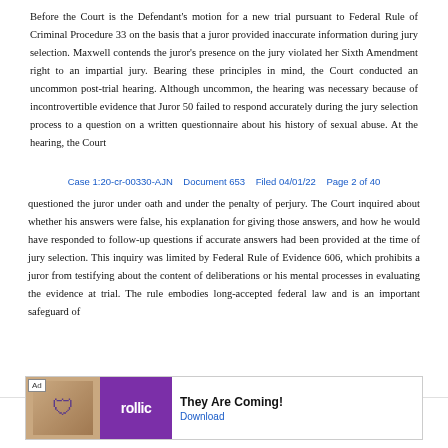Before the Court is the Defendant's motion for a new trial pursuant to Federal Rule of Criminal Procedure 33 on the basis that a juror provided inaccurate information during jury selection. Maxwell contends the juror's presence on the jury violated her Sixth Amendment right to an impartial jury. Bearing these principles in mind, the Court conducted an uncommon post-trial hearing. Although uncommon, the hearing was necessary because of incontrovertible evidence that Juror 50 failed to respond accurately during the jury selection process to a question on a written questionnaire about his history of sexual abuse. At the hearing, the Court
Case 1:20-cr-00330-AJN   Document 653   Filed 04/01/22   Page 2 of 40
questioned the juror under oath and under the penalty of perjury. The Court inquired about whether his answers were false, his explanation for giving those answers, and how he would have responded to follow-up questions if accurate answers had been provided at the time of jury selection. This inquiry was limited by Federal Rule of Evidence 606, which prohibits a juror from testifying about the content of deliberations or his mental processes in evaluating the evidence at trial. The rule embodies long-accepted federal law and is an important safeguard of